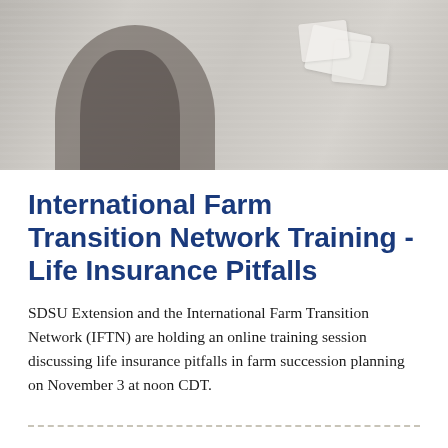[Figure (photo): A banner photo showing a person's hands on a light grey wooden/marble surface with what appears to be cards or envelopes in the upper right area. Muted grey tones throughout.]
International Farm Transition Network Training - Life Insurance Pitfalls
SDSU Extension and the International Farm Transition Network (IFTN) are holding an online training session discussing life insurance pitfalls in farm succession planning on November 3 at noon CDT.